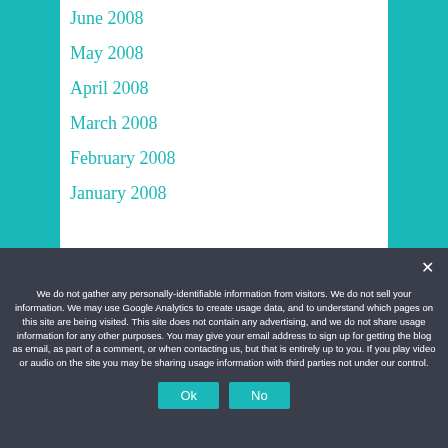June 2008
May 2008
April 2008
March 2008
February 2008
January 2008
We do not gather any personally-identifiable information from visitors. We do not sell your information. We may use Google Analytics to create usage data, and to understand which pages on this site are being visited. This site does not contain any advertising, and we do not share usage information for any other purposes. You may give your email address to sign up for getting the blog as email, as part of a comment, or when contacting us, but that is entirely up to you. If you play video or audio on the site you may be sharing usage information with third parties not under our control.